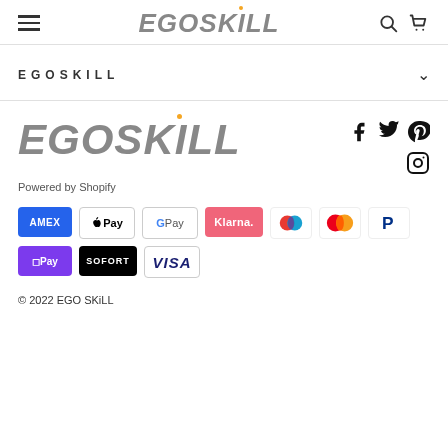EGOSKILL — navigation header with hamburger menu, logo, search and cart icons
EGOSKILL
[Figure (logo): EGOSKILL logo in large gray italic bold font with orange dot above the i]
[Figure (infographic): Social media icons: Facebook, Twitter, Pinterest, Instagram]
Powered by Shopify
[Figure (infographic): Payment method badges: AMEX, Apple Pay, Google Pay, Klarna, Maestro, Mastercard, PayPal, OPay, Sofort, Visa]
© 2022 EGO SKiLL